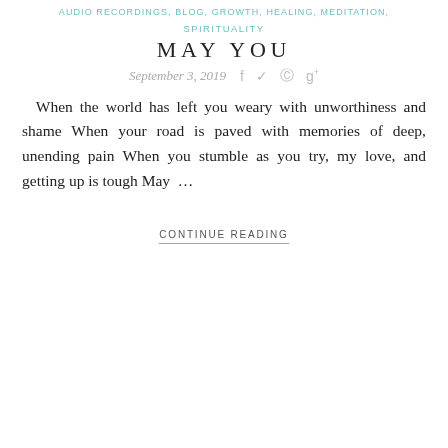AUDIO RECORDINGS, BLOG, GROWTH, HEALING, MEDITATION, SPIRITUALITY
SPIRITUALITY
MAY YOU
September 3, 2019
When the world has left you weary with unworthiness and shame When your road is paved with memories of deep, unending pain When you stumble as you try, my love, and getting up is tough May …
CONTINUE READING